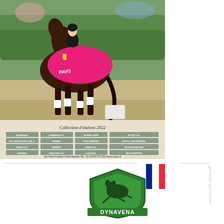[Figure (photo): Advertisement for Van Olst stud farm (Heewaarden) showing a dressage horse and rider wearing a pink PAVO blanket with medals, with a grid of stallion names for Collection d'étalons 2022 and contact information at the bottom.]
[Figure (logo): French flag (tricolor blue-white-red) above Dynavena company logo featuring a green shield with a horse and rider jumping, and the DYNAVENA text. Side text reads 'genetic potential' rotated 90 degrees.]